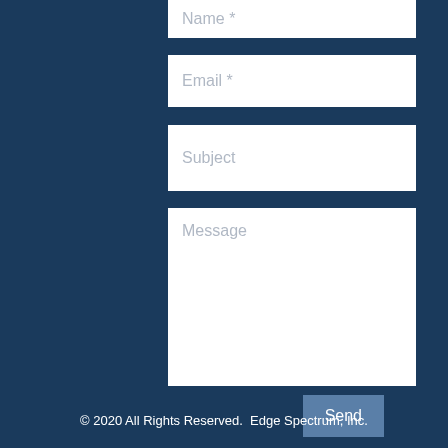Name *
Email *
Subject
Message
Send
© 2020 All Rights Reserved.  Edge Spectrum, Inc.